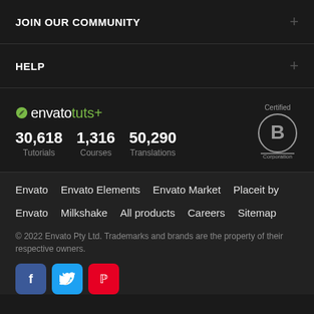JOIN OUR COMMUNITY
HELP
[Figure (logo): Envato tuts+ logo with leaf icon, stats showing 30,618 Tutorials, 1,316 Courses, 50,290 Translations, and Certified B Corporation badge]
Envato  Envato Elements  Envato Market  Placeit by
Envato  Milkshake  All products  Careers  Sitemap
© 2022 Envato Pty Ltd. Trademarks and brands are the property of their respective owners.
[Figure (infographic): Social media buttons: Facebook (blue), Twitter (light blue), Pinterest (red)]